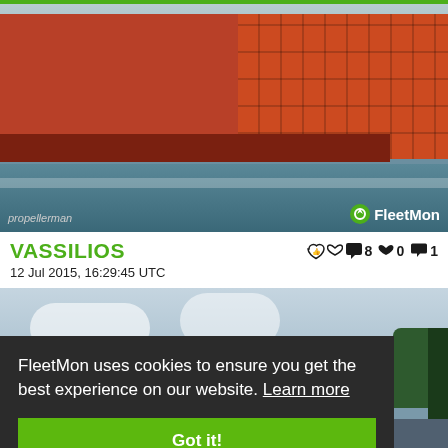[Figure (photo): Large cargo/vehicle carrier ship with red hull and orange grid superstructure sailing on water. Photo credit: propellerman. FleetMon logo in bottom right.]
VASSILIOS
👍 8  ❤️ 0  💬 1
12 Jul 2015, 16:29:45 UTC
[Figure (photo): Second ship photo partially visible, showing sky and water. FleetMon watermark visible. Cookie consent banner overlaid on top.]
FleetMon uses cookies to ensure you get the best experience on our website. Learn more
Got it!